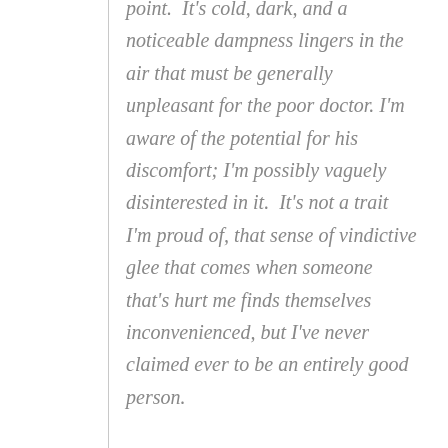point.  It's cold, dark, and a noticeable dampness lingers in the air that must be generally unpleasant for the poor doctor.  I'm aware of the potential for his discomfort; I'm possibly vaguely disinterested in it.  It's not a trait I'm proud of, that sense of vindictive glee that comes when someone that's hurt me finds themselves inconvenienced, but I've never claimed ever to be an entirely good person.